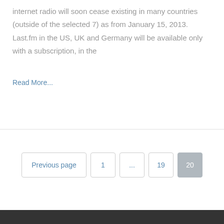internet radio will soon cease existing in many countries (outside of the selected 7) as from January 15, 2013. Last.fm in the US, UK and Germany will be available only with a subscription, in the
Read More...
Previous page  1  ...  19  20